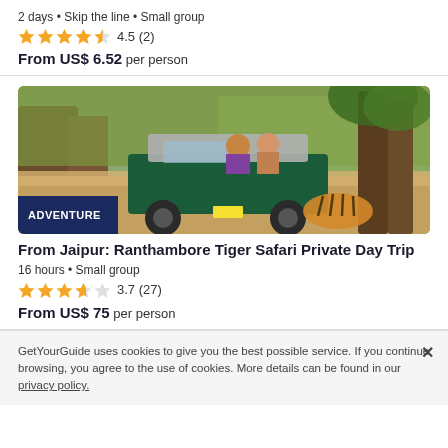2 days • Skip the line • Small group
4.5 (2)
From US$ 6.52 per person
[Figure (photo): A green safari jeep with passengers driving through a forest, with a tiger partially visible near the vehicle. Labeled 'ADVENTURE'.]
From Jaipur: Ranthambore Tiger Safari Private Day Trip
16 hours • Small group
3.7 (27)
From US$ 75 per person
GetYourGuide uses cookies to give you the best possible service. If you continue browsing, you agree to the use of cookies. More details can be found in our privacy policy.